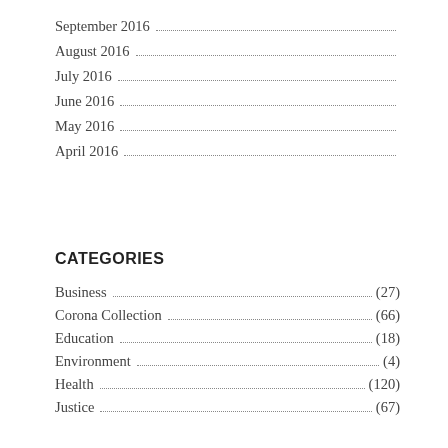September 2016
August 2016
July 2016
June 2016
May 2016
April 2016
CATEGORIES
Business (27)
Corona Collection (66)
Education (18)
Environment (4)
Health (120)
Justice (67)